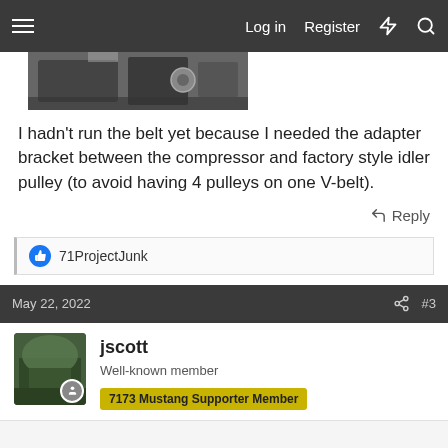Log in  Register
[Figure (photo): Partial photo of a car engine bay, cropped at top of page]
I hadn't run the belt yet because I needed the adapter bracket between the compressor and factory style idler pulley (to avoid having 4 pulleys on one V-belt).
Reply
71ProjectJunk
May 22, 2022  #3
jscott
Well-known member  7173 Mustang Supporter Member